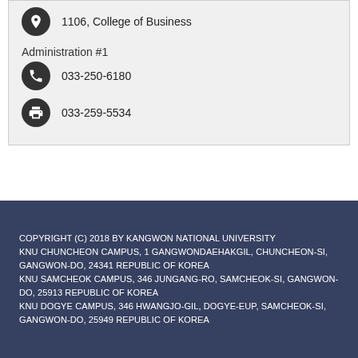1106, College of Business
Administration #1
033-250-6180
033-259-5534
COPYRIGHT (C) 2018 BY KANGWON NATIONAL UNIVERSITY KNU CHUNCHEON CAMPUS, 1 GANGWONDAEHAKGIL, CHUNCHEON-SI, GANGWON-DO, 24341 REPUBLIC OF KOREA KNU SAMCHEOK CAMPUS, 346 JUNGANG-RO, SAMCHEOK-SI, GANGWON-DO, 25913 REPUBLIC OF KOREA KNU DOGYE CAMPUS, 346 HWANGJO-GIL, DOGYE-EUP, SAMCHEOK-SI, GANGWON-DO, 25949 REPUBLIC OF KOREA